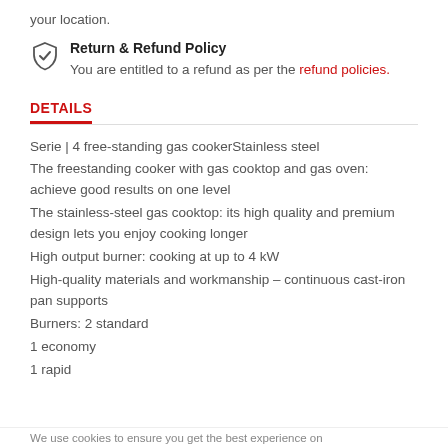your location.
Return & Refund Policy
You are entitled to a refund as per the refund policies.
DETAILS
Serie | 4 free-standing gas cookerStainless steel
The freestanding cooker with gas cooktop and gas oven: achieve good results on one level
The stainless-steel gas cooktop: its high quality and premium design lets you enjoy cooking longer
High output burner: cooking at up to 4 kW
High-quality materials and workmanship – continuous cast-iron pan supports
Burners: 2 standard
1 economy
1 rapid
We use cookies to ensure you get the best experience on…